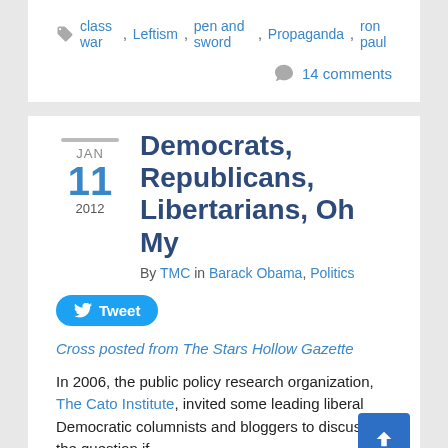class war, Leftism, pen and sword, Propaganda, ron paul
14 comments
Democrats, Republicans, Libertarians, Oh My
By TMC in Barack Obama, Politics
Tweet
Cross posted from The Stars Hollow Gazette
In 2006, the public policy research organization, The Cato Institute, invited some leading liberal Democratic columnists and bloggers to discuss the question if